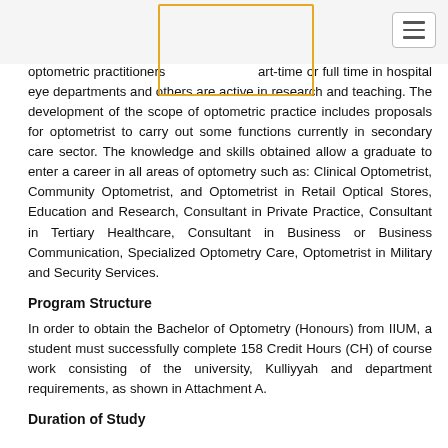optometric practitioners part-time or full time in hospital eye departments and others are active in research and teaching. The development of the scope of optometric practice includes proposals for optometrist to carry out some functions currently in secondary care sector. The knowledge and skills obtained allow a graduate to enter a career in all areas of optometry such as: Clinical Optometrist, Community Optometrist, and Optometrist in Retail Optical Stores, Education and Research, Consultant in Private Practice, Consultant in Tertiary Healthcare, Consultant in Business or Business Communication, Specialized Optometry Care, Optometrist in Military and Security Services.
Program Structure
In order to obtain the Bachelor of Optometry (Honours) from IIUM, a student must successfully complete 158 Credit Hours (CH) of course work consisting of the university, Kulliyyah and department requirements, as shown in Attachment A.
Duration of Study